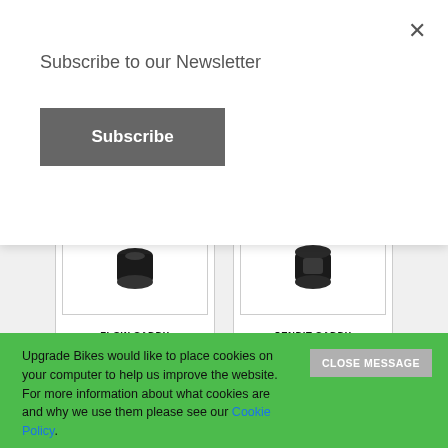Subscribe to our Newsletter
Subscribe
[Figure (screenshot): Product card showing FLOW CADDY with dark cylindrical object image]
FLOW CADDY
Quick View
[Figure (screenshot): Product card showing SENDIT CADDY with dark object image]
SENDIT CADDY
Quick View
[Figure (screenshot): Product card showing a black tool/lever]
[Figure (screenshot): Product card showing a Lezyne branded item]
Upgrade Bikes would like to place cookies on your computer to help us improve the website. For more information about what cookies are and why we use them please see our Cookie Policy.
CLOSE MESSAGE